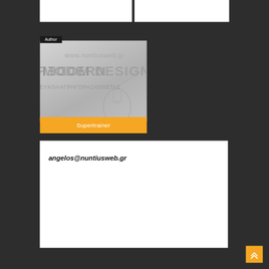[Figure (screenshot): Author profile card showing a design company card/logo with text including 'www.nuntiusweb.gr', 'MODERN DESIGN', Greek text, and a computer mouse graphic. Below the card image is an orange bar with 'Supertrainer' label. The card has an 'Author' label tag at top left.]
angelos@nuntiusweb.gr
[Figure (other): Orange button with double up-arrow (back to top) in bottom right corner]